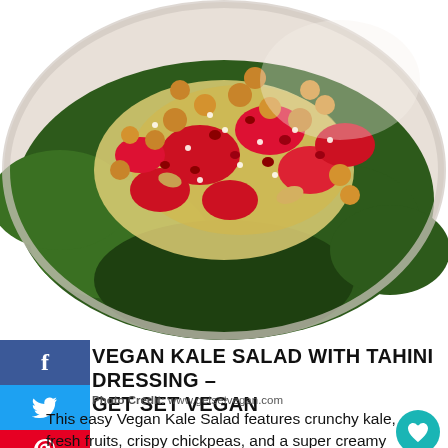[Figure (photo): Bowl of vegan kale salad with strawberries, chickpeas, pomegranate seeds, and tahini dressing, photographed from above]
VEGAN KALE SALAD WITH TAHINI DRESSING – GET SET VEGAN
Photo Credit: www.getsetvegan.com
This easy Vegan Kale Salad features crunchy kale, fresh fruits, crispy chickpeas, and a super creamy Tahini Dressing. This is an ultimate high protein vegan lunch anyone can think of.
Continue Reading
[Figure (screenshot): SHE CAN STEM advertisement banner with Learn More button and Ad Council logo]